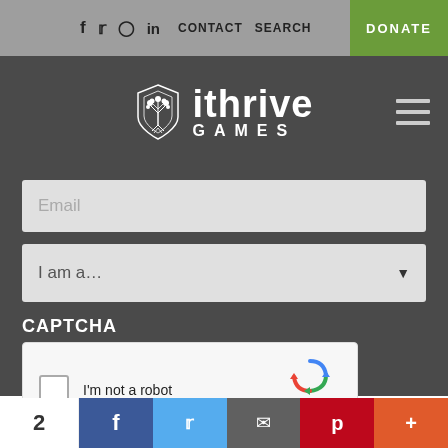f  Twitter  Instagram  in  CONTACT  SEARCH  DONATE
[Figure (logo): iThrive Games logo with shield icon containing a tree, white text on dark background]
Email
I am a...
CAPTCHA
[Figure (screenshot): reCAPTCHA widget with checkbox labeled I'm not a robot, reCAPTCHA logo and Privacy - Terms links]
2  f  Twitter  email  p  +